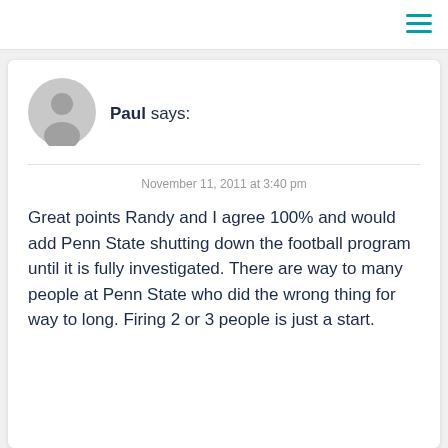[Figure (illustration): User avatar icon — circular grey silhouette of a person]
Paul says:
November 11, 2011 at 3:40 pm
Great points Randy and I agree 100% and would add Penn State shutting down the football program until it is fully investigated. There are way to many people at Penn State who did the wrong thing for way to long. Firing 2 or 3 people is just a start.